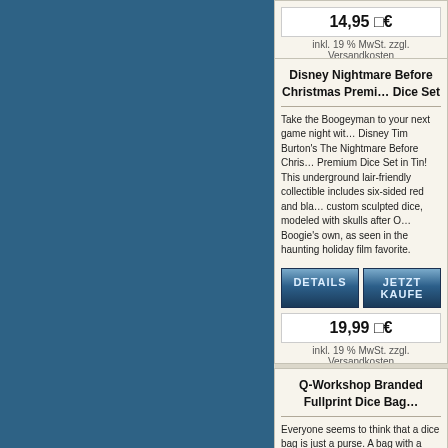[Figure (screenshot): Blue sidebar background on left side of page]
14,95 €
inkl. 19 % MwSt. zzgl. Versandkosten
Disney Nightmare Before Christmas Premium Dice Set
Take the Boogeyman to your next game night with Disney Tim Burton's The Nightmare Before Christmas Premium Dice Set in Tin! This underground lair-friendly collectible includes six-sided red and black custom sculpted dice, modeled with skulls after Oogie Boogie's own, as seen in the haunting holiday film favorite.
19,99 €
inkl. 19 % MwSt. zzgl. Versandkosten
Q-Workshop Branded Fullprint Dice Bag
Everyone seems to think that a dice bag is just a purse. A bag with a string that allows the dice not to fly loose in a backpack. However, this ordinary object is the basic cover of your beloved sets. It's a cloth armor for all these happy polyhedral dice that help players defeat all obstacles.